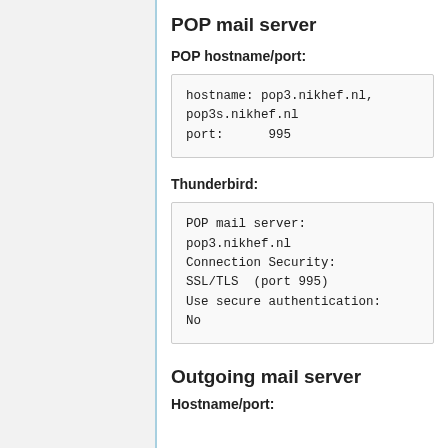POP mail server
POP hostname/port:
hostname: pop3.nikhef.nl,
pop3s.nikhef.nl
port:      995
Thunderbird:
POP mail server:
pop3.nikhef.nl
Connection Security:
SSL/TLS  (port 995)
Use secure authentication:
No
Outgoing mail server
Hostname/port: